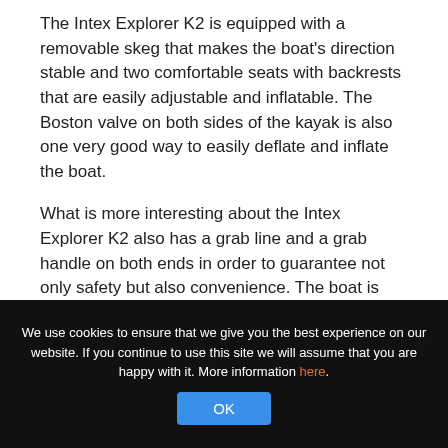The Intex Explorer K2 is equipped with a removable skeg that makes the boat's direction stable and two comfortable seats with backrests that are easily adjustable and inflatable. The Boston valve on both sides of the kayak is also one very good way to easily deflate and inflate the boat.
What is more interesting about the Intex Explorer K2 also has a grab line and a grab handle on both ends in order to guarantee not only safety but also convenience. The boat is also specially designated a U.S. Coast Guard ID, which means that its structure has passed strict
We use cookies to ensure that we give you the best experience on our website. If you continue to use this site we will assume that you are happy with it. More information here.